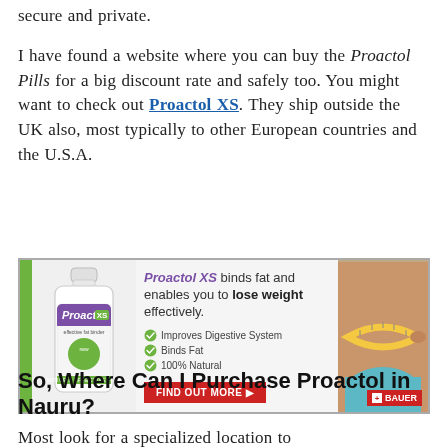secure and private.
I have found a website where you can buy the Proactol Pills for a big discount rate and safely too. You might want to check out Proactol XS. They ship outside the UK also, most typically to other European countries and the U.S.A.
[Figure (infographic): Proactol XS advertisement banner showing a white pill bottle on the left with green branding, text stating 'Proactol XS binds fat and enables you to lose weight effectively.' with bullet points: Improves Digestive System, Binds Fat, 100% Natural, a red FIND OUT MORE button, a photo of a woman's torso measuring waist with tape measure, and a BAUER logo badge in the corner.]
So, Where Can I Purchase Proactol in Nauru?
Most look for a specialized location to